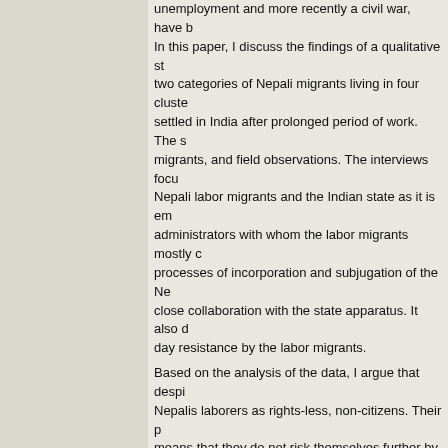unemployment and more recently a civil war, have b... In this paper, I discuss the findings of a qualitative st... two categories of Nepali migrants living in four cluste... settled in India after prolonged period of work. The s... migrants, and field observations. The interviews focu... Nepali labor migrants and the Indian state as it is em... administrators with whom the labor migrants mostly c... processes of incorporation and subjugation of the Ne... close collaboration with the state apparatus. It also d... day resistance by the labor migrants. Based on the analysis of the data, I argue that despi... Nepalis laborers as rights-less, non-citizens. Their p... means that they do not risk themselves further by de... supposedly liberal Indian state, but help grease its in... cheap laborers. Are these the types of 'open borders... globalization trying to promote across the world? Thi...
Pangalan ng conference
International migration, multi-local livelihoods and... Asia and Africa
Conference Lokasyon
83 DDA Janta Flats, GTB Enclave, Delhi - 93, Indi...
Number of pages
35
Editor
Institute of Social studies
Kalakip